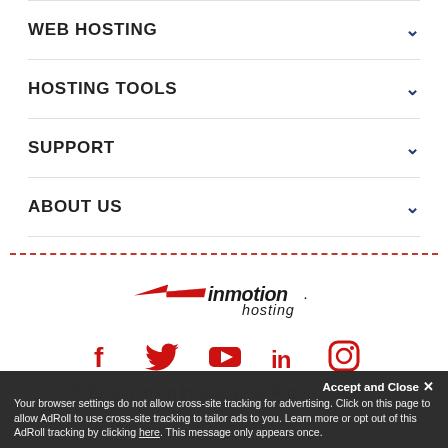WEB HOSTING
HOSTING TOOLS
SUPPORT
ABOUT US
[Figure (logo): InMotion Hosting logo with red swoosh arrow and bold/italic inmotion. hosting text]
[Figure (infographic): Social media icons row: Facebook, Twitter, YouTube, LinkedIn, Instagram — all in red]
Accept and Close
Your browser settings do not allow cross-site tracking for advertising. Click on this page to allow AdRoll to use cross-site tracking to tailor ads to you. Learn more or opt out of this AdRoll tracking by clicking here. This message only appears once.